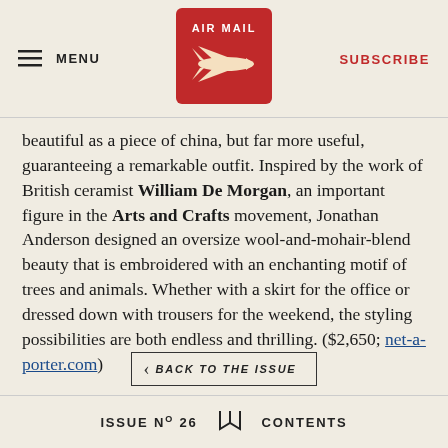MENU | AIR MAIL | SUBSCRIBE
beautiful as a piece of china, but far more useful, guaranteeing a remarkable outfit. Inspired by the work of British ceramist William De Morgan, an important figure in the Arts and Crafts movement, Jonathan Anderson designed an oversize wool-and-mohair-blend beauty that is embroidered with an enchanting motif of trees and animals. Whether with a skirt for the office or dressed down with trousers for the weekend, the styling possibilities are both endless and thrilling. ($2,650; net-a-porter.com)
BACK TO THE ISSUE
ISSUE No 26  CONTENTS